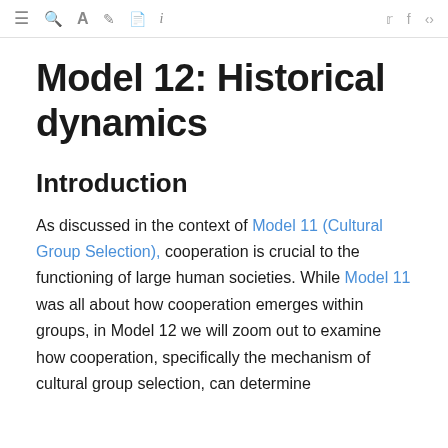≡  🔍  A  ✎  📄  i        🐦  f  ⋮
Model 12: Historical dynamics
Introduction
As discussed in the context of Model 11 (Cultural Group Selection), cooperation is crucial to the functioning of large human societies. While Model 11 was all about how cooperation emerges within groups, in Model 12 we will zoom out to examine how cooperation, specifically the mechanism of cultural group selection, can determine